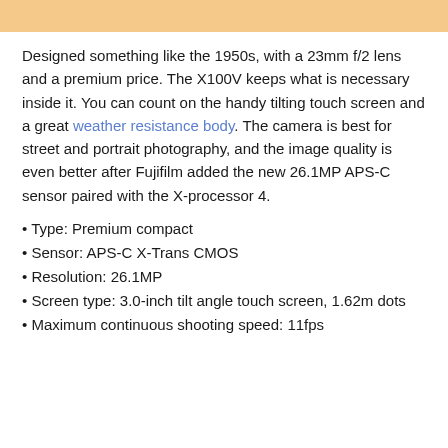[Figure (other): Decorative orange/peach colored header bar at top of page]
Designed something like the 1950s, with a 23mm f/2 lens and a premium price. The X100V keeps what is necessary inside it. You can count on the handy tilting touch screen and a great weather resistance body. The camera is best for street and portrait photography, and the image quality is even better after Fujifilm added the new 26.1MP APS-C sensor paired with the X-processor 4.
• Type: Premium compact
• Sensor: APS-C X-Trans CMOS
• Resolution: 26.1MP
• Screen type: 3.0-inch tilt angle touch screen, 1.62m dots
• Maximum continuous shooting speed: 11fps